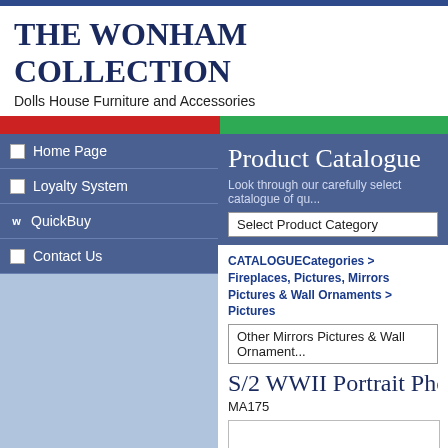THE WONHAM COLLECTION
Dolls House Furniture and Accessories
Home Page
Loyalty System
QuickBuy
Contact Us
Product Catalogue
Look through our carefully select catalogue of qu...
Select Product Category
CATALOGUECategories > Fireplaces, Pictures, Mirrors Pictures & Wall Ornaments > Pictures
Other Mirrors Pictures & Wall Ornament...
S/2 WWII Portrait Photograph
MA175
[Figure (photo): Product image placeholder for MA175 - S/2 WWII Portrait Photographs, shown as a white box with border]